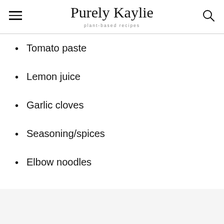Purely Kaylie — plant-based recipes
Tomato paste
Lemon juice
Garlic cloves
Seasoning/spices
Elbow noodles